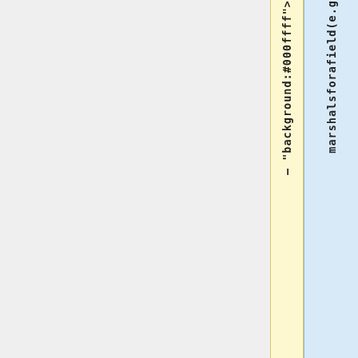"background: #000fff"
marshalsforafield(e.g